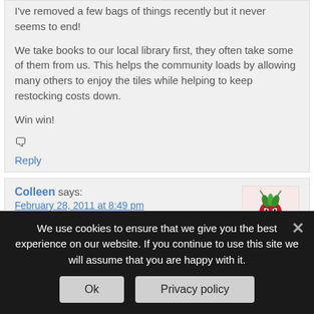I've removed a few bags of things recently but it never seems to end!
We take books to our local library first, they often take some of them from us. This helps the community loads by allowing many others to enjoy the tiles while helping to keep restocking costs down.
Win win!
🗨
Reply
Colleen says:
February 28, 2011 at 8:49 pm
Well done Mrs Green that is a lot of stuff out of your house and a lot of space reclaimed. It feels good
[Figure (illustration): Cartoon avatar of an angry red creature with green leaves on its head and spindly legs]
We use cookies to ensure that we give you the best experience on our website. If you continue to use this site we will assume that you are happy with it.
Ok
Privacy policy